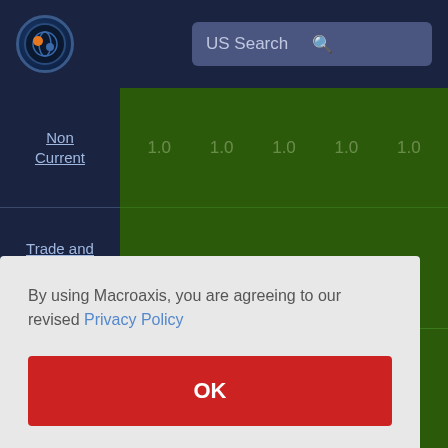[Figure (logo): Macroaxis globe logo — dark blue circle with orange and blue design]
US Search
|  | 1.0 | 1.0 | 1.0 | 1.0 | 1.0 |
| --- | --- | --- | --- | --- | --- |
| Non Current |  |  |  |  |  |
| Trade and Non Trade Payables | 1.0 | 1.0 | 1.0 | 1.0 | 1.0 |
By using Macroaxis, you are agreeing to our revised Privacy Policy
OK